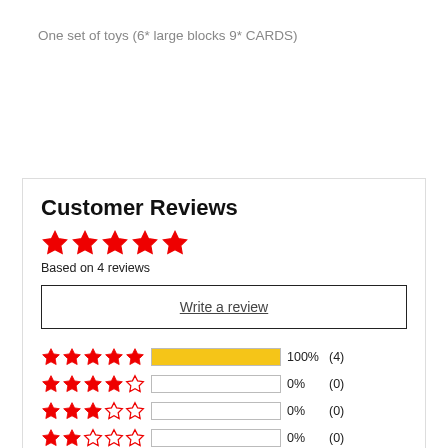One set of toys (6* large blocks 9* CARDS)
Customer Reviews
Based on 4 reviews
Write a review
| Stars | Bar | Percent | Count |
| --- | --- | --- | --- |
| 5 stars | 100% | 100% | (4) |
| 4 stars | 0% | 0% | (0) |
| 3 stars | 0% | 0% | (0) |
| 2 stars | 0% | 0% | (0) |